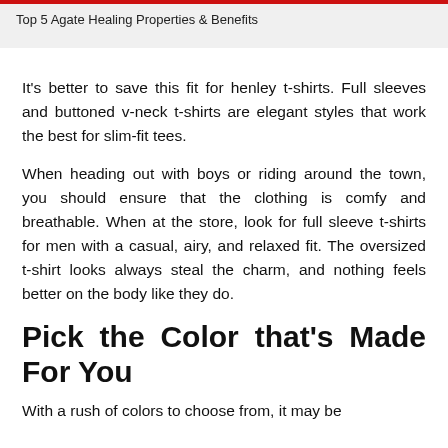Top 5 Agate Healing Properties & Benefits
It’s better to save this fit for henley t-shirts. Full sleeves and buttoned v-neck t-shirts are elegant styles that work the best for slim-fit tees.
When heading out with boys or riding around the town, you should ensure that the clothing is comfy and breathable. When at the store, look for full sleeve t-shirts for men with a casual, airy, and relaxed fit. The oversized t-shirt looks always steal the charm, and nothing feels better on the body like they do.
Pick the Color that’s Made For You
With a rush of colors to choose from, it may be